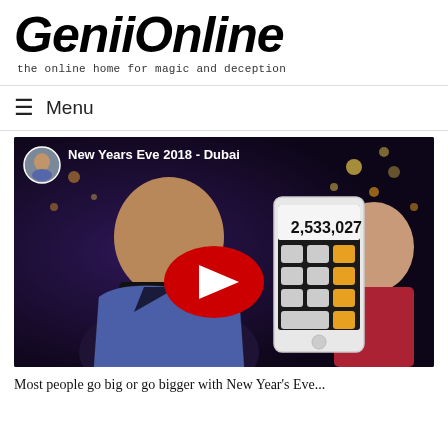Genii Online — the online home for magic and deception
≡ Menu
[Figure (screenshot): YouTube video thumbnail for 'New Years Eve 2018 - Dubai' showing a magician in a blue suit holding a smartphone displaying the number 2,533,027, with a woman in the background and a YouTube play button overlay]
Most people go big or go bigger with New Year's Eve...